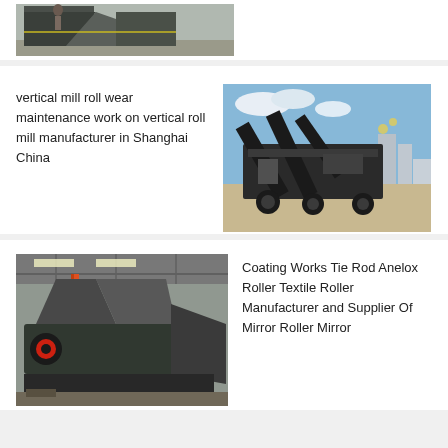[Figure (photo): Industrial equipment - a hopper or funnel-shaped steel structure on a factory floor, partially visible at top of page]
[Figure (photo): Large mobile crushing/screening machine with conveyor belts in an outdoor setting with city buildings in background]
vertical mill roll wear maintenance work on vertical roll mill manufacturer in Shanghai China
[Figure (photo): Large industrial equipment - a roller or mill machine inside a factory/warehouse with orange support columns]
Coating Works Tie Rod Anelox Roller Textile Roller Manufacturer and Supplier Of Mirror Roller Mirror